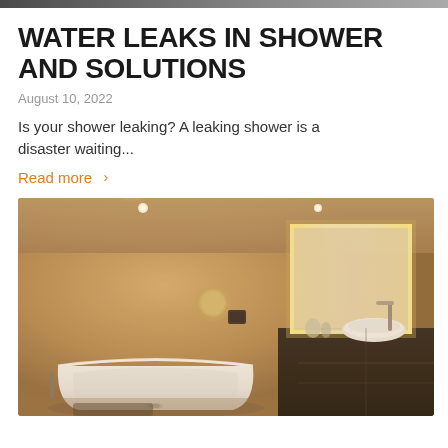[Figure (photo): Partial photograph strip at top of page showing a bathroom or shower scene]
WATER LEAKS IN SHOWER AND SOLUTIONS
August 10, 2022
Is your shower leaking? A leaking shower is a disaster waiting...
Read more >
[Figure (photo): Photograph of a modern bathroom interior with warm amber/golden lighting, featuring a freestanding white bathtub on the left, a wall-mounted round mirror, a large illuminated rectangular mirror on the right with a vessel sink on a dark vanity counter, recessed ceiling lights, and beige/tan walls.]